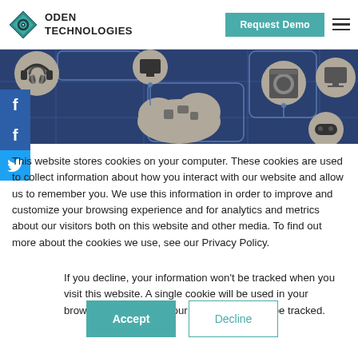ODEN TECHNOLOGIES | Request Demo
[Figure (illustration): Dark blue banner with IoT/connected devices illustration: cloud, headphones, gaming controller, monitor, washing machine, game controller icons connected by lines on dark blue background.]
This website stores cookies on your computer. These cookies are used to collect information about how you interact with our website and allow us to remember you. We use this information in order to improve and customize your browsing experience and for analytics and metrics about our visitors both on this website and other media. To find out more about the cookies we use, see our Privacy Policy.
If you decline, your information won't be tracked when you visit this website. A single cookie will be used in your browser to remember your preference not to be tracked.